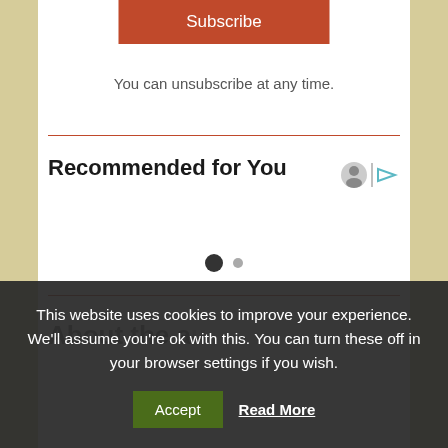[Figure (screenshot): Subscribe button — orange-red rounded rectangle with white text 'Subscribe']
You can unsubscribe at any time.
Recommended for You
[Figure (other): Pagination dots — one large filled dark dot and one smaller grey dot]
About the author (partially visible, cropped)
This website uses cookies to improve your experience. We'll assume you're ok with this. You can turn these off in your browser settings if you wish.
Accept  Read More